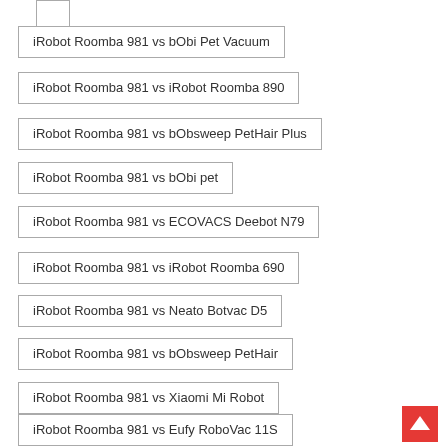iRobot Roomba 981 vs bObi Pet Vacuum
iRobot Roomba 981 vs iRobot Roomba 890
iRobot Roomba 981 vs bObsweep PetHair Plus
iRobot Roomba 981 vs bObi pet
iRobot Roomba 981 vs ECOVACS Deebot N79
iRobot Roomba 981 vs iRobot Roomba 690
iRobot Roomba 981 vs Neato Botvac D5
iRobot Roomba 981 vs bObsweep PetHair
iRobot Roomba 981 vs Xiaomi Mi Robot
iRobot Roomba 981 vs Eufy RoboVac 11S